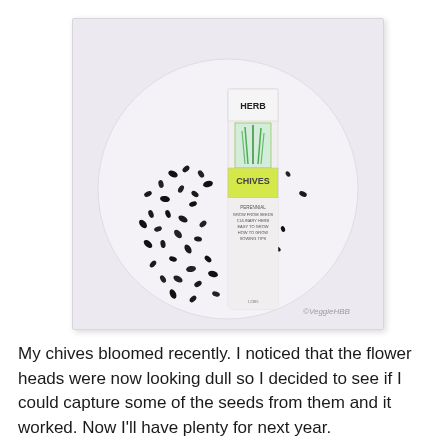[Figure (photo): A photograph showing scattered small black chive seeds on a white plate, next to a seed packet labeled 'HERB CHIVES' with an illustration of green chive plants. A watermark reads ©VeggieHBB.]
My chives bloomed recently. I noticed that the flower heads were now looking dull so I decided to see if I could capture some of the seeds from them and it worked. Now I'll have plenty for next year.